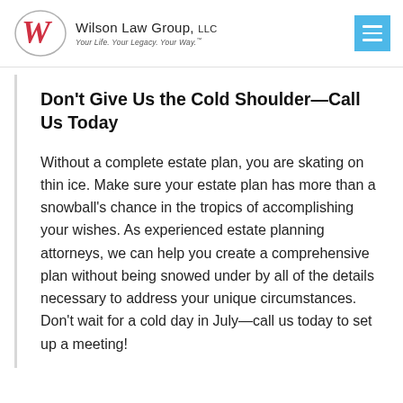Wilson Law Group, LLC — Your Life. Your Legacy. Your Way.
Don't Give Us the Cold Shoulder—Call Us Today
Without a complete estate plan, you are skating on thin ice. Make sure your estate plan has more than a snowball's chance in the tropics of accomplishing your wishes. As experienced estate planning attorneys, we can help you create a comprehensive plan without being snowed under by all of the details necessary to address your unique circumstances. Don't wait for a cold day in July—call us today to set up a meeting!